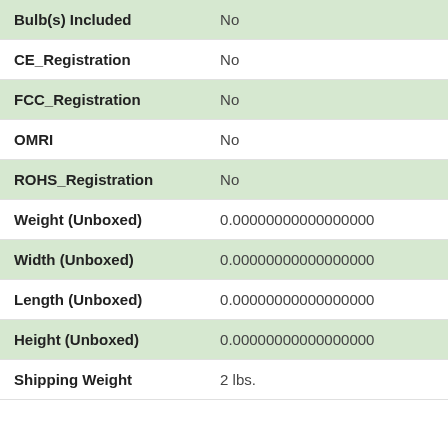| Attribute | Value |
| --- | --- |
| Bulb(s) Included | No |
| CE_Registration | No |
| FCC_Registration | No |
| OMRI | No |
| ROHS_Registration | No |
| Weight (Unboxed) | 0.00000000000000000 |
| Width (Unboxed) | 0.00000000000000000 |
| Length (Unboxed) | 0.00000000000000000 |
| Height (Unboxed) | 0.00000000000000000 |
| Shipping Weight | 2 lbs. |